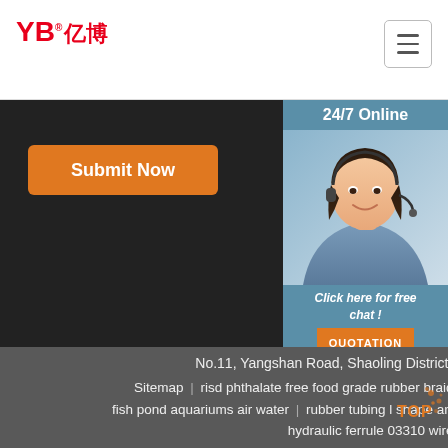[Figure (logo): YB亿博 company logo in red with registered trademark symbol]
[Figure (screenshot): Hamburger menu icon button in top right of header]
[Figure (illustration): Orange Submit Now button on dark background]
[Figure (photo): 24/7 Online customer service agent photo with headset, smiling woman with dark hair]
Click here for free chat !
QUOTATION
No.11, Yangshan Road, Shaoling District, Luoyang Province, China
Sitemap | risd phthalate free food grade rubber braided hose tubing drink water hose pipe fish pond aquariums air water | rubber tubing l shape angle hose | hydraulic accessories striping hydraulic ferrule 03310 wire braid hose